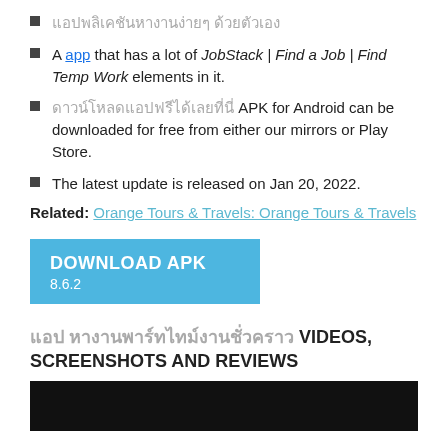[Thai text]
A app that has a lot of JobStack | Find a Job | Find Temp Work elements in it.
[Thai text] APK for Android can be downloaded for free from either our mirrors or Play Store.
The latest update is released on Jan 20, 2022.
Related: Orange Tours & Travels: Orange Tours & Travels
DOWNLOAD APK 8.6.2
[Thai text] VIDEOS, SCREENSHOTS AND REVIEWS
[Figure (screenshot): Dark video thumbnail area at bottom of page]